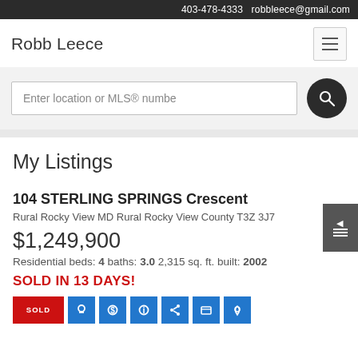403-478-4333  robbleece@gmail.com
Robb Leece
Enter location or MLS® number
My Listings
104 STERLING SPRINGS Crescent
Rural Rocky View MD Rural Rocky View County T3Z 3J7
$1,249,900
Residential beds: 4 baths: 3.0 2,315 sq. ft. built: 2002
SOLD IN 13 DAYS!